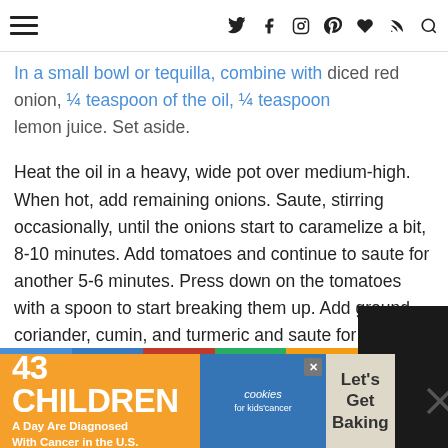[Navigation bar with hamburger menu and social icons: Twitter, Facebook, Instagram, Pinterest, Heart, RSS, Search]
In a small bowl or tequilla, combine with diced red onion, ¼ teaspoon of the oil, ¼ teaspoon lemon juice. Set aside.
Heat the oil in a heavy, wide pot over medium-high. When hot, add remaining onions. Saute, stirring occasionally, until the onions start to caramelize a bit, 8-10 minutes. Add tomatoes and continue to saute for another 5-6 minutes. Press down on the tomatoes with a spoon to start breaking them up. Add ground coriander, cumin, and turmeric and saute for 30 seconds while stirring. Add the drained chickpeas, the reserved cooking liquid, remaining salt, garam masala, and cayenne. Stir to combine then bring to a simmer. Cover, reduce heat to low and cook gently for 20 minutes, stirring occasionally.
Stir in the mixture you reserved earlier and turn off heat.
[Figure (infographic): Advertisement banner: '43 CHILDREN A Day Are Diagnosed With Cancer in the U.S.' with Cookies for kids' cancer logo and 'Let's Get Baking' text]